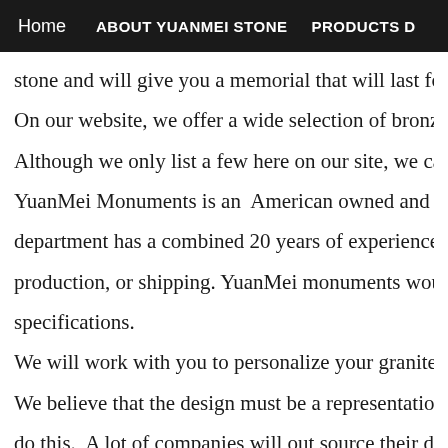Home   ABOUT YUANMEI STONE   PRODUCTS D
stone and will give you a memorial that will last forever. Th
On our website, we offer a wide selection of bronze memori
Although we only list a few here on our site, we can supply
YuanMei Monuments is an American owned and operated b
department has a combined 20 years of experience and is re
production, or shipping. YuanMei monuments would like th
specifications.
We will work with you to personalize your granite marker to
We believe that the design must be a representation of the li
do this.  A lot of companies will out source their designs and